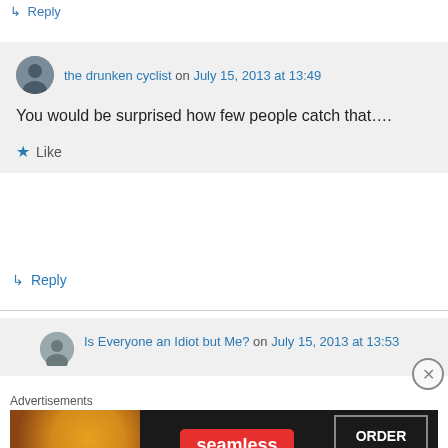↳ Reply
the drunken cyclist on July 15, 2013 at 13:49
You would be surprised how few people catch that….
★ Like
↳ Reply
Is Everyone an Idiot but Me? on July 15, 2013 at 13:53
Advertisements
[Figure (other): Seamless food delivery advertisement banner with pizza image on left, Seamless logo in center, and ORDER NOW button on right]